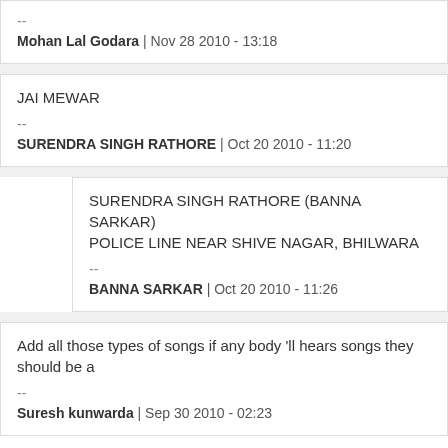--
Mohan Lal Godara | Nov 28 2010 - 13:18
JAI MEWAR
--
SURENDRA SINGH RATHORE | Oct 20 2010 - 11:20
SURENDRA SINGH RATHORE (BANNA SARKAR)
POLICE LINE NEAR SHIVE NAGAR, BHILWARA
--
BANNA SARKAR | Oct 20 2010 - 11:26
Add all those types of songs if any body 'll hears songs they should be a
--
Suresh kunwarda | Sep 30 2010 - 02:23